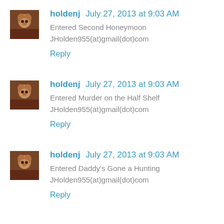[Figure (photo): Small avatar thumbnail of a dog/animal photo]
holdenj July 27, 2013 at 9:03 AM
Entered Second Honeymoon
JHolden955(at)gmail(dot)com
Reply
[Figure (photo): Small avatar thumbnail of a dog/animal photo]
holdenj July 27, 2013 at 9:03 AM
Entered Murder on the Half Shelf
JHolden955(at)gmail(dot)com
Reply
[Figure (photo): Small avatar thumbnail of a dog/animal photo]
holdenj July 27, 2013 at 9:03 AM
Entered Daddy's Gone a Hunting
JHolden955(at)gmail(dot)com
Reply